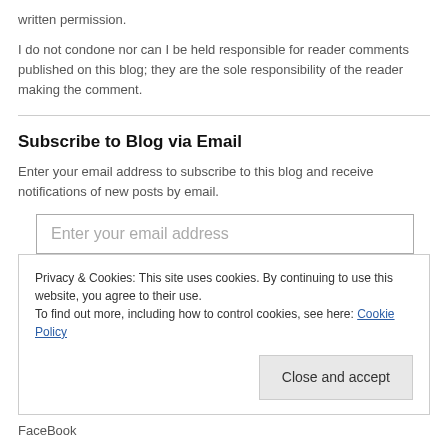written permission.
I do not condone nor can I be held responsible for reader comments published on this blog; they are the sole responsibility of the reader making the comment.
Subscribe to Blog via Email
Enter your email address to subscribe to this blog and receive notifications of new posts by email.
Enter your email address
Privacy & Cookies: This site uses cookies. By continuing to use this website, you agree to their use.
To find out more, including how to control cookies, see here: Cookie Policy
Close and accept
FaceBook